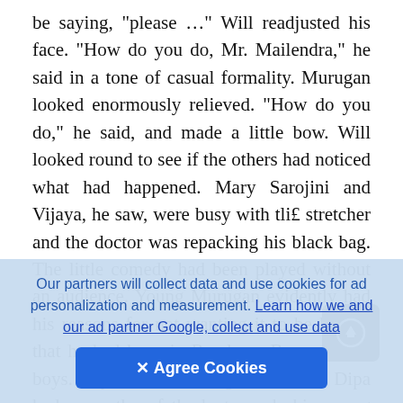be saying, "please …" Will readjusted his face. "How do you do, Mr. Mailendra," he said in a tone of casual formality. Murugan looked enormously relieved. "How do you do," he said, and made a little bow. Will looked round to see if the others had noticed what had happened. Mary Sarojini and Vijaya, he saw, were busy with tli£ stretcher and the doctor was repacking his black bag. The little comedy had been played without an audience. Young Murugan evidently had his reasons for not wanting it to be known that he had been in Rendang. Boys will be boys. Boys will even be girls. Colonel Dipa had more than fatherly towards his young proteg towards the Colonel, Murugan had been a good deal more than filial—he had been positively
Our partners will collect data and use cookies for ad personalization and measurement. Learn how we and our ad partner Google, collect and use data